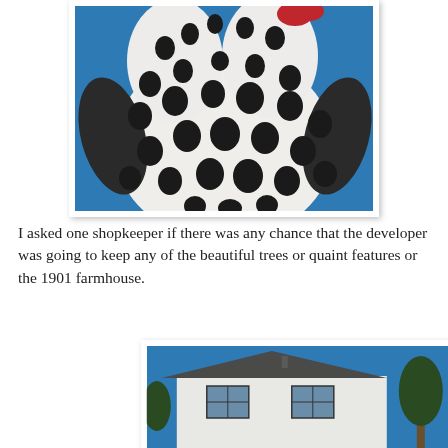[Figure (photo): Close-up photo of a large white sculpture of a chicken/rooster with black spots/polka dots and a red comb, against a blue sky background.]
I asked one shopkeeper if there was any chance that the developer was going to keep any of the beautiful trees or quaint features or the 1901 farmhouse.
[Figure (photo): Partial photo of a white two-story farmhouse with a dark roof and two upper windows, set against a blue sky with trees partially visible on the right.]